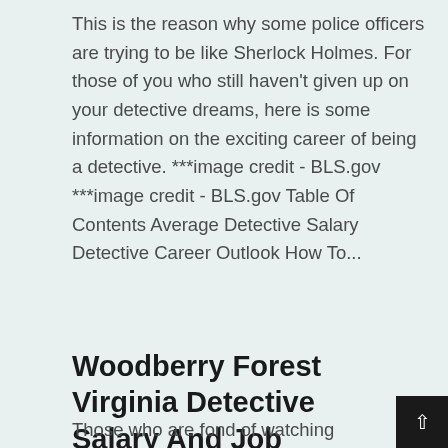This is the reason why some police officers are trying to be like Sherlock Holmes. For those of you who still haven't given up on your detective dreams, here is some information on the exciting career of being a detective. ***image credit - BLS.gov ***image credit - BLS.gov Table Of Contents Average Detective Salary Detective Career Outlook How To...
Read More
Woodberry Forest Virginia Detective Salary And Job Requirements
Those who are fond of watching detective series and movies want to become a detective in the